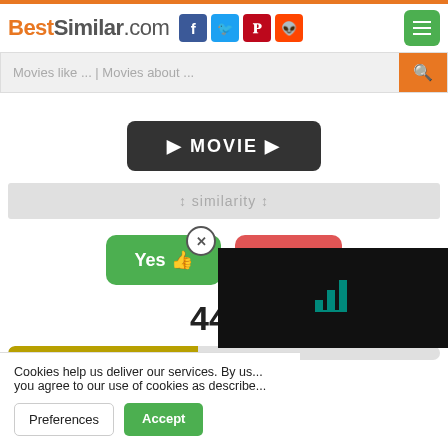BestSimilar.com
Movies like ... | Movies about ...
[Figure (screenshot): Dark button with play icons and text MOVIE]
similarity
Yes  No
44%
[Figure (other): Yellow-green progress bar at 44%, and black ad overlay with teal chart icon]
Cookies help us deliver our services. By us... you agree to our use of cookies as describe...
Preferences  Accept